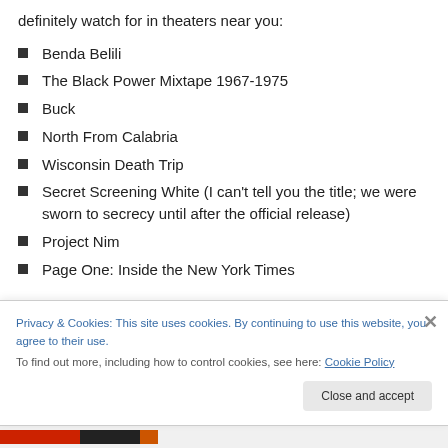definitely watch for in theaters near you:
Benda Belili
The Black Power Mixtape 1967-1975
Buck
North From Calabria
Wisconsin Death Trip
Secret Screening White (I can't tell you the title; we were sworn to secrecy until after the official release)
Project Nim
Page One: Inside the New York Times
Privacy & Cookies: This site uses cookies. By continuing to use this website, you agree to their use.
To find out more, including how to control cookies, see here: Cookie Policy